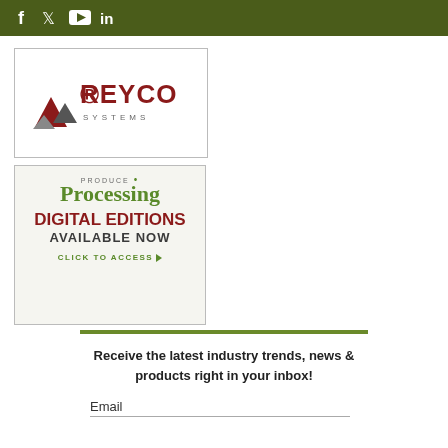Social media icons: f, Twitter, YouTube, in
[Figure (logo): Reyco Systems logo — red REYCO text with triangular arrow graphic and SYSTEMS below]
[Figure (infographic): Produce Processing magazine ad — 'DIGITAL EDITIONS AVAILABLE NOW — CLICK TO ACCESS']
Receive the latest industry trends, news & products right in your inbox!
Email